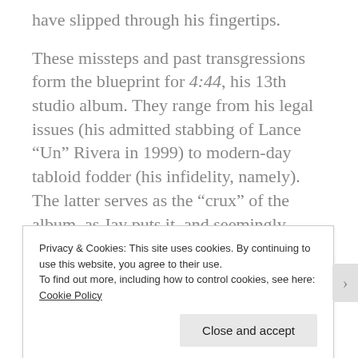have slipped through his fingertips.
These missteps and past transgressions form the blueprint for 4:44, his 13th studio album. They range from his legal issues (his admitted stabbing of Lance “Un” Rivera in 1999) to modern-day tabloid fodder (his infidelity, namely). The latter serves as the “crux” of the album, as Jay puts it, and seemingly serves as the inspiration for a project that is his strongest in years, and most personal, perhaps ever.
The album is hardly a direct response to Beyoncé’s
Privacy & Cookies: This site uses cookies. By continuing to use this website, you agree to their use.
To find out more, including how to control cookies, see here: Cookie Policy
Close and accept